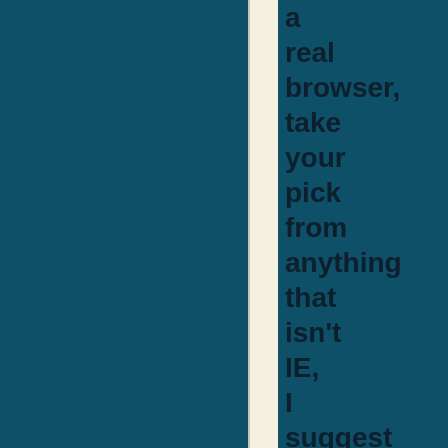a real browser, take your pick from anything that isn't IE, I suggest Mozilla Firefox. Step 2